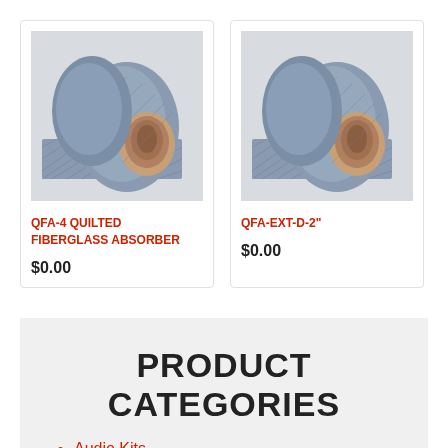[Figure (photo): Rolled quilted fiberglass absorber product image for QFA-4]
QFA-4 QUILTED FIBERGLASS ABSORBER
$0.00
[Figure (photo): Rolled quilted fiberglass absorber product image for QFA-EXT-D-2"]
QFA-EXT-D-2"
$0.00
PRODUCT CATEGORIES
Audio Kits
Wireless Microphone System
Headphones